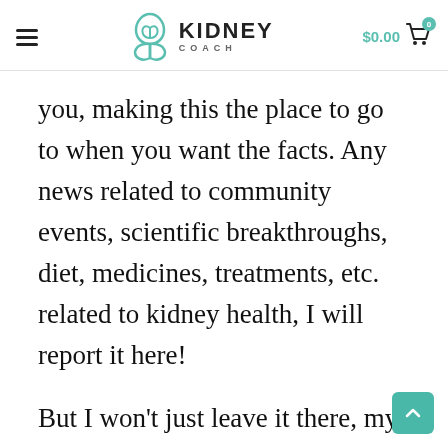KIDNEY COACH  $0.00
you, making this the place to go to when you want the facts. Any news related to community events, scientific breakthroughs, diet, medicines, treatments, etc. related to kidney health, I will report it here!
But I won't just leave it there, my goal will also be to report on other stories that I feel that you might find interesting, inspiring, funny,